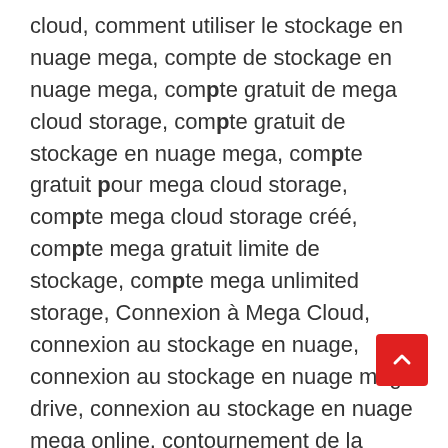cloud, comment utiliser le stockage en nuage mega, compte de stockage en nuage mega, compte gratuit de mega cloud storage, compte gratuit de stockage en nuage mega, compte gratuit pour mega cloud storage, compte mega cloud storage créé, compte mega gratuit limite de stockage, compte mega unlimited storage, Connexion à Mega Cloud, connexion au stockage en nuage, connexion au stockage en nuage mega drive, connexion au stockage en nuage mega online, contournement de la limite de bande passante jdownloader, contournement de la limite de stockage mega, contournement de la limite mega.nz, contourner la limite de stockage mega, contourner la limite de téléchargement 2022 et